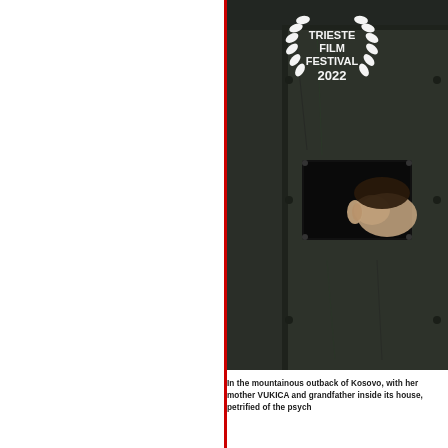[Figure (photo): Dark dramatic photo of a person's face partially visible through a small window in a heavy dark metal door. Trieste Film Festival 2022 laurel wreath logo overlaid in white in the upper portion of the image.]
In the mountainous outback of Kosovo, with her mother VUKICA and grandfather inside its house, petrified of the psych